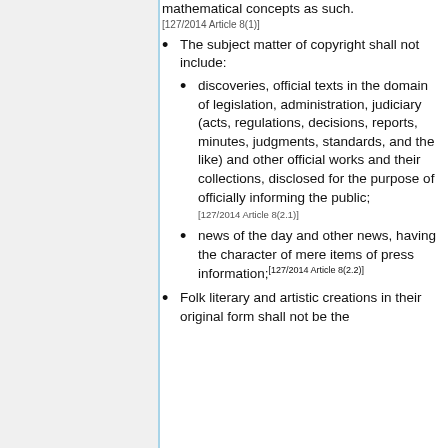mathematical concepts as such.
[127/2014 Article 8(1)]
The subject matter of copyright shall not include:
discoveries, official texts in the domain of legislation, administration, judiciary (acts, regulations, decisions, reports, minutes, judgments, standards, and the like) and other official works and their collections, disclosed for the purpose of officially informing the public;
[127/2014 Article 8(2.1)]
news of the day and other news, having the character of mere items of press information;[127/2014 Article 8(2.2)]
Folk literary and artistic creations in their original form shall not be the